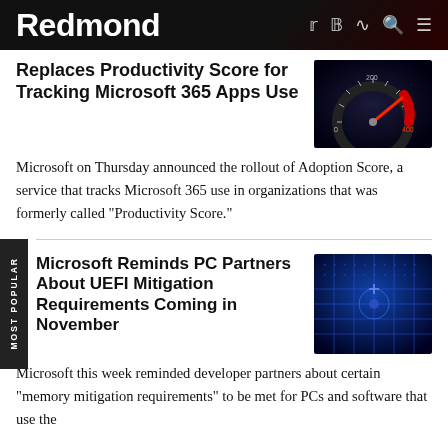Redmond
Replaces Productivity Score for Tracking Microsoft 365 Apps Use
[Figure (photo): Speedometer gauge with red needle on dark background]
Microsoft on Thursday announced the rollout of Adoption Score, a service that tracks Microsoft 365 use in organizations that was formerly called "Productivity Score."
Microsoft Reminds PC Partners About UEFI Mitigation Requirements Coming in November
[Figure (photo): Blue digital network or circuit board background]
Microsoft this week reminded developer partners about certain "memory mitigation requirements" to be met for PCs and software that use the